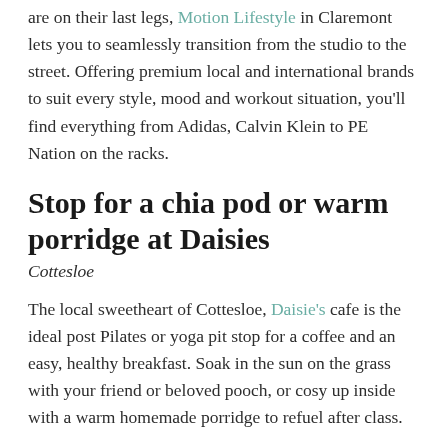are on their last legs, Motion Lifestyle in Claremont lets you to seamlessly transition from the studio to the street. Offering premium local and international brands to suit every style, mood and workout situation, you'll find everything from Adidas, Calvin Klein to PE Nation on the racks.
Stop for a chia pod or warm porridge at Daisies
Cottesloe
The local sweetheart of Cottesloe, Daisie's cafe is the ideal post Pilates or yoga pit stop for a coffee and an easy, healthy breakfast. Soak in the sun on the grass with your friend or beloved pooch, or cosy up inside with a warm homemade porridge to refuel after class.